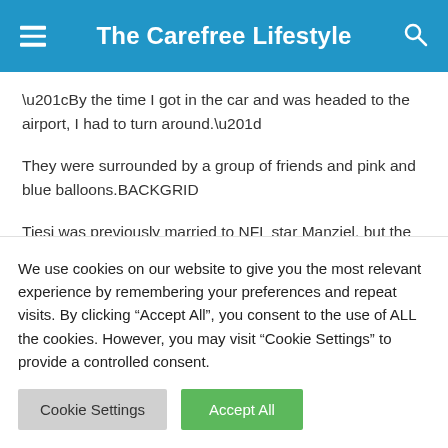The Carefree Lifestyle
“By the time I got in the car and was headed to the airport, I had to turn around.”
They were surrounded by a group of friends and pink and blue balloons.BACKGRID
Tiesi was previously married to NFL star Manziel, but the romance was short lived. The pair got engaged in 2017 and quietly wed in 2018 at a
We use cookies on our website to give you the most relevant experience by remembering your preferences and repeat visits. By clicking “Accept All”, you consent to the use of ALL the cookies. However, you may visit "Cookie Settings" to provide a controlled consent.